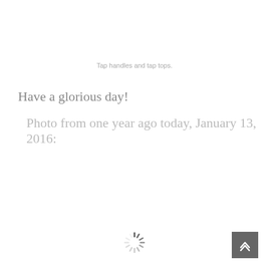Tap handles and tap tops.
Have a glorious day!
Photo from one year ago today, January 13, 2016:
[Figure (other): Loading spinner animation icon]
[Figure (other): Scroll-to-top button arrow icon]